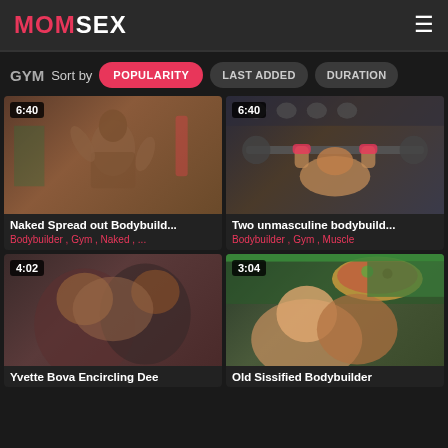MOMSEX
GYM Sort by POPULARITY LAST ADDED DURATION
[Figure (screenshot): Video thumbnail showing muscular woman, duration 6:40]
Naked Spread out Bodybuild...
Bodybuilder , Gym , Naked , ...
[Figure (screenshot): Video thumbnail showing gym scene, duration 6:40]
Two unmasculine bodybuild...
Bodybuilder , Gym , Muscle
[Figure (screenshot): Video thumbnail, duration 4:02]
Yvette Bova Encircling Dee
[Figure (screenshot): Video thumbnail, duration 3:04]
Old Sissified Bodybuilder